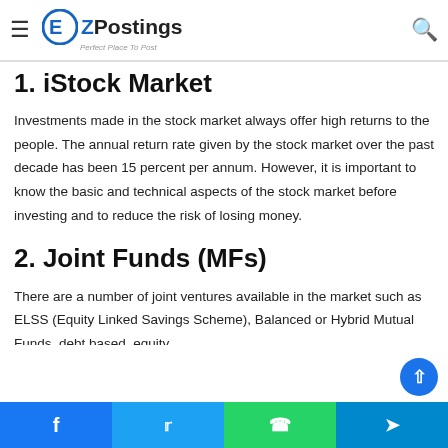EZPostings — Perfect Place To Post (navigation bar with hamburger menu and search icon)
double in 72/10 = 7.2 years. Do you need some ways to double your money? Check below.
1. iStock Market
Investments made in the stock market always offer high returns to the people. The annual return rate given by the stock market over the past decade has been 15 percent per annum. However, it is important to know the basic and technical aspects of the stock market before investing and to reduce the risk of losing money.
2. Joint Funds (MFs)
There are a number of joint ventures available in the market such as ELSS (Equity Linked Savings Scheme), Balanced or Hybrid Mutual Funds, debt based, equity
Social share buttons: Facebook, Twitter, WhatsApp, Telegram